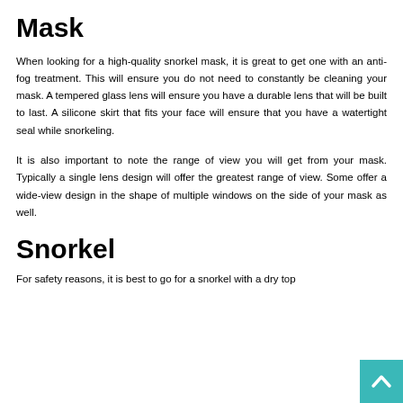Mask
When looking for a high-quality snorkel mask, it is great to get one with an anti-fog treatment. This will ensure you do not need to constantly be cleaning your mask. A tempered glass lens will ensure you have a durable lens that will be built to last. A silicone skirt that fits your face will ensure that you have a watertight seal while snorkeling.
It is also important to note the range of view you will get from your mask. Typically a single lens design will offer the greatest range of view. Some offer a wide-view design in the shape of multiple windows on the side of your mask as well.
Snorkel
For safety reasons, it is best to go for a snorkel with a dry top